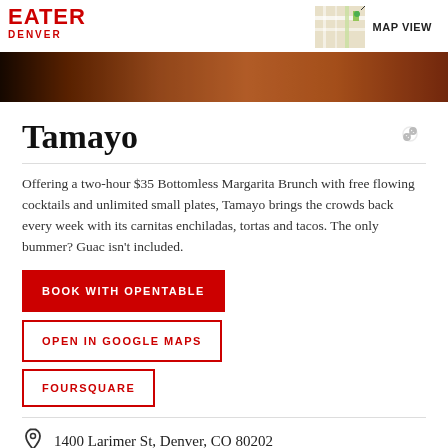EATER DENVER
[Figure (photo): Restaurant interior photo strip showing warm lighting]
Tamayo
Offering a two-hour $35 Bottomless Margarita Brunch with free flowing cocktails and unlimited small plates, Tamayo brings the crowds back every week with its carnitas enchiladas, tortas and tacos. The only bummer? Guac isn't included.
BOOK WITH OPENTABLE
OPEN IN GOOGLE MAPS
FOURSQUARE
1400 Larimer St, Denver, CO 80202
(720) 946-1433